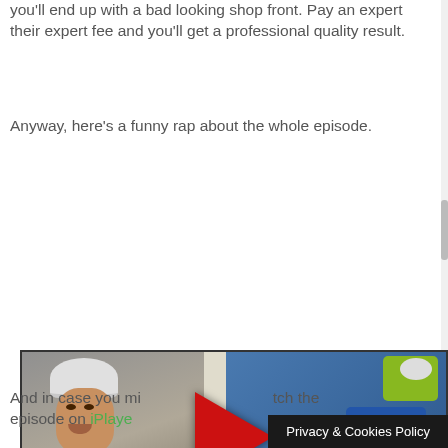you'll end up with a bad looking shop front. Pay an expert their expert fee and you'll get a professional quality result.
Anyway, here's a funny rap about the whole episode.
[Figure (screenshot): Video thumbnail showing a young man wearing a hard hat and yellow safety vest on the left, with a large red play button triangle in the center, and workers in blue shirts and yellow safety vests on the right. Caption bar at bottom reads 'The Apprentice: Rap Up' and 'Handy Man'.]
And in case you missed it, you can watch the episode on iPlaye
Privacy & Cookies Policy